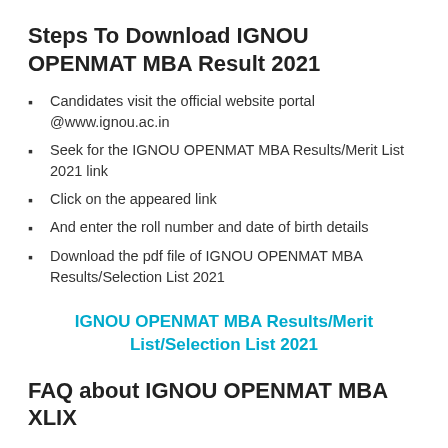Steps To Download IGNOU OPENMAT MBA Result 2021
Candidates visit the official website portal @www.ignou.ac.in
Seek for the IGNOU OPENMAT MBA Results/Merit List 2021 link
Click on the appeared link
And enter the roll number and date of birth details
Download the pdf file of IGNOU OPENMAT MBA Results/Selection List 2021
IGNOU OPENMAT MBA Results/Merit List/Selection List 2021
FAQ about IGNOU OPENMAT MBA XLIX